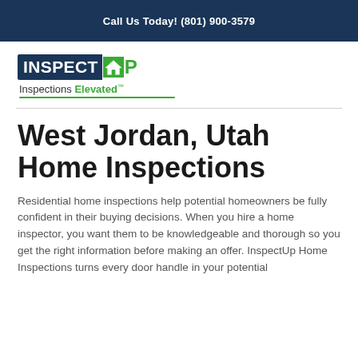Call Us Today! (801) 900-3579
[Figure (logo): InspectUp logo — dark navy rectangle with 'INSPECT' in white bold and 'UP' in green bold with a house icon, tagline 'Inspections Elevated™' with green underline]
West Jordan, Utah Home Inspections
Residential home inspections help potential homeowners be fully confident in their buying decisions. When you hire a home inspector, you want them to be knowledgeable and thorough so you get the right information before making an offer. InspectUp Home Inspections turns every door handle in your potential